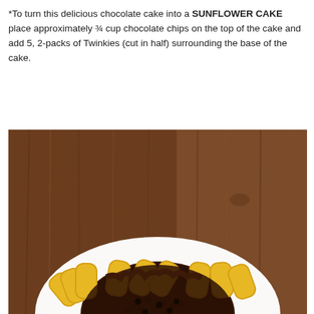*To turn this delicious chocolate cake into a SUNFLOWER CAKE place approximately ¾ cup chocolate chips on the top of the cake and add 5, 2-packs of Twinkies (cut in half) surrounding the base of the cake.
[Figure (photo): Top-down photo of a chocolate Sunflower Cake on a white plate, surrounded by halved Twinkies arranged as petals around the edge, with chocolate chips on top of the dark chocolate frosted cake, placed on a rustic wooden table surface.]